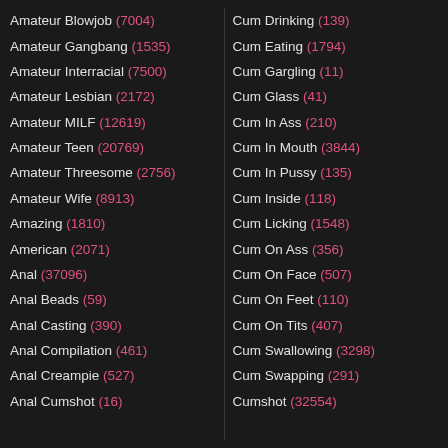Amateur Blowjob (7004)
Amateur Gangbang (1535)
Amateur Interracial (7500)
Amateur Lesbian (2172)
Amateur MILF (12619)
Amateur Teen (20769)
Amateur Threesome (2756)
Amateur Wife (8913)
Amazing (1810)
American (2071)
Anal (37096)
Anal Beads (59)
Anal Casting (390)
Anal Compilation (461)
Anal Creampie (527)
Anal Cumshot (16)
Cum Drinking (139)
Cum Eating (1794)
Cum Gargling (11)
Cum Glass (41)
Cum In Ass (210)
Cum In Mouth (3844)
Cum In Pussy (135)
Cum Inside (118)
Cum Licking (1548)
Cum On Ass (356)
Cum On Face (507)
Cum On Feet (110)
Cum On Tits (407)
Cum Swallowing (3298)
Cum Swapping (291)
Cumshot (32554)